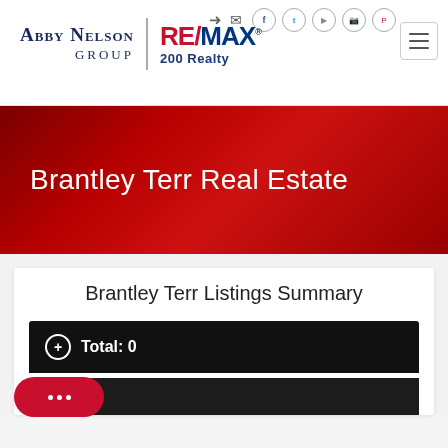[Figure (logo): Abby Nelson Group RE/MAX 200 Realty logo with navigation icons]
Brantley Terr Real Estate
Brantley Terr Listings Summary
Total: 0